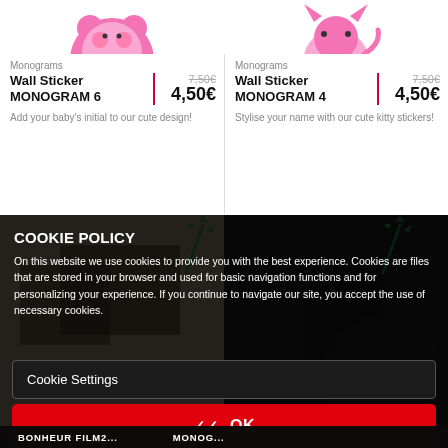[Figure (illustration): Partial pink monster/bear sticker image top-left]
[Figure (illustration): Partial pink cat sticker image top-right]
Monograms
Wall Sticker MONOGRAM 6
7,50€ 4,50€
Add your baby's initial to our cute design!
Monograms
Wall Sticker MONOGRAM 4
7,50€ 4,50€
Stylise your name with our cute kitty stickers!
[Figure (photo): Partially visible room/product photos in bottom section background]
COOKIE POLICY
On this website we use cookies to provide you with the best experience. Cookies are files that are stored in your browser and used for basic navigation functions and for personalizing your experience. If you continue to navigate our site, you accept the use of necessary cookies.
Cookie Settings
OK